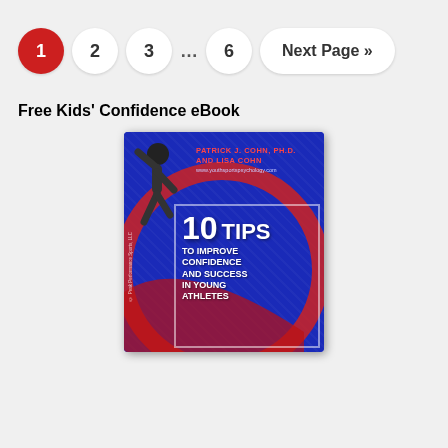1 2 3 … 6 Next Page »
Free Kids' Confidence eBook
[Figure (illustration): Book cover for '10 Tips to Improve Confidence and Success in Young Athletes' by Patrick J. Cohn, Ph.D. and Lisa Cohn, published by Peak Performance Sports LLC, with website www.youthsportspsychology.com. Blue background with a stylized athlete figure and red arc design.]